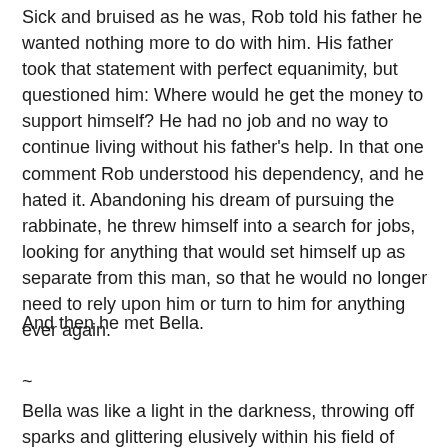Sick and bruised as he was, Rob told his father he wanted nothing more to do with him. His father took that statement with perfect equanimity, but questioned him: Where would he get the money to support himself? He had no job and no way to continue living without his father's help. In that one comment Rob understood his dependency, and he hated it. Abandoning his dream of pursuing the rabbinate, he threw himself into a search for jobs, looking for anything that would set himself up as separate from this man, so that he would no longer need to rely upon him or turn to him for anything ever again.
And then he met Bella.
~
Bella was like a light in the darkness, throwing off sparks and glittering elusively within his field of vision. Beautiful, accomplished, talented and strong, Bella had come to study at Stern College from Italy, a country that she loved. She was fluent in Italian, the words tripping lightly off her tongue, and her accent was a delicate thing, fascinating Rob, who